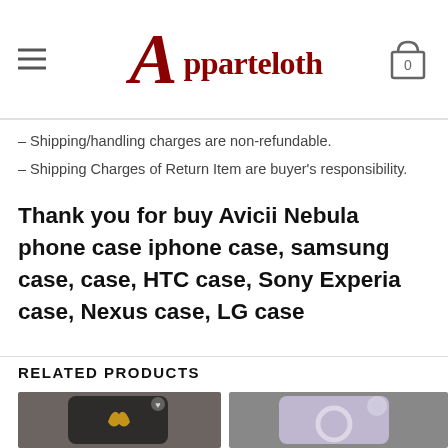Apparteloth (logo) | hamburger menu | cart (0)
– Shipping/handling charges are non-refundable.
– Shipping Charges of Return Item are buyer's responsibility.
Thank you for buy Avicii Nebula phone case iphone case, samsung case, case, HTC case, Sony Experia case, Nexus case, LG case
RELATED PRODUCTS
[Figure (photo): Phone case with yellow ribbon design on black case]
[Figure (photo): Phone case with purple/lavender design on white case]